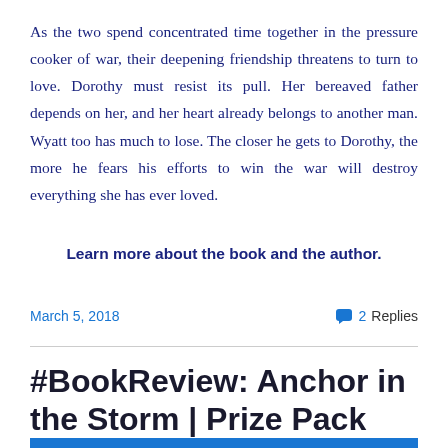As the two spend concentrated time together in the pressure cooker of war, their deepening friendship threatens to turn to love. Dorothy must resist its pull. Her bereaved father depends on her, and her heart already belongs to another man. Wyatt too has much to lose. The closer he gets to Dorothy, the more he fears his efforts to win the war will destroy everything she has ever loved.
Learn more about the book and the author.
March 5, 2018
2 Replies
#BookReview: Anchor in the Storm | Prize Pack #Giveaway